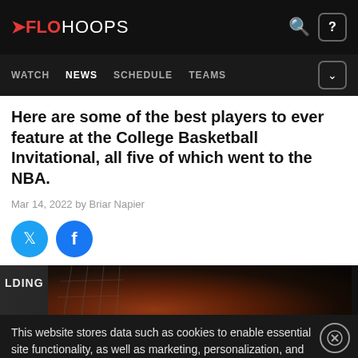FLOHOOPS — WATCH NEWS SCHEDULE TEAMS
Here are some of the best players to ever feature at the College Basketball Invitational, all five of which went to the NBA.
Mar 14, 2022 by Briar Napier
[Figure (illustration): Twitter and Facebook social share buttons (circular icons)]
[Figure (photo): Basketball net and ball image with 'LDING' text visible, dark background]
This website stores data such as cookies to enable essential site functionality, as well as marketing, personalization, and analytics. By remaining on this website you indicate your consent. Data Storage Policy